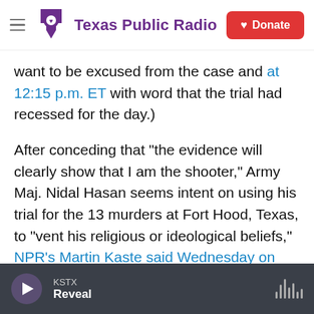Texas Public Radio | Donate
want to be excused from the case and at 12:15 p.m. ET with word that the trial had recessed for the day.)
After conceding that "the evidence will clearly show that I am the shooter," Army Maj. Nidal Hasan seems intent on using his trial for the 13 murders at Fort Hood, Texas, to "vent his religious or ideological beliefs," NPR's Martin Kaste said Wednesday on Morning Edition.
During Day 1 of the trial, though, "the judge shut him down on procedural grounds," Martin added.
KSTX | Reveal